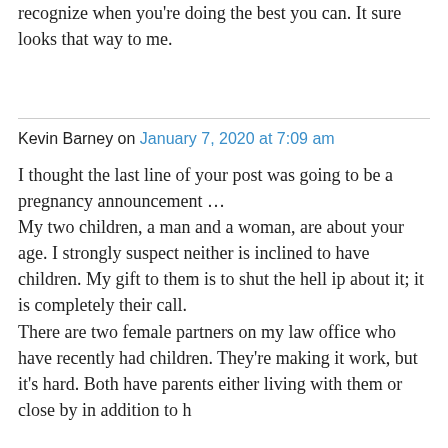recognize when you're doing the best you can. It sure looks that way to me.
Kevin Barney on January 7, 2020 at 7:09 am
I thought the last line of your post was going to be a pregnancy announcement …
My two children, a man and a woman, are about your age. I strongly suspect neither is inclined to have children. My gift to them is to shut the hell ip about it; it is completely their call.
There are two female partners on my law office who have recently had children. They're making it work, but it's hard. Both have parents either living with them or close by in addition to ha...